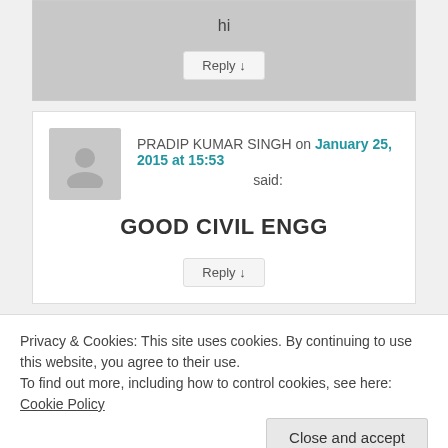hi
Reply ↓
PRADIP KUMAR SINGH on January 25, 2015 at 15:53 said:
GOOD CIVIL ENGG
Reply ↓
Privacy & Cookies: This site uses cookies. By continuing to use this website, you agree to their use.
To find out more, including how to control cookies, see here: Cookie Policy
Close and accept
development projects in Punjab, Pakistan